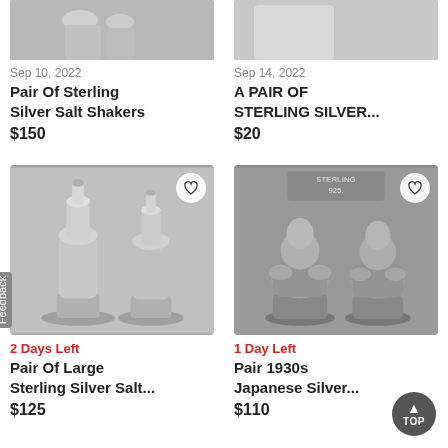[Figure (photo): Partial top image of sterling silver salt shakers, cropped at top]
Sep 10, 2022
Pair Of Sterling Silver Salt Shakers
$150
[Figure (photo): Partial top image of a pair of sterling silver items, cropped at top]
Sep 14, 2022
A PAIR OF STERLING SILVER...
$20
[Figure (photo): Two tall sterling silver salt shaker figurines shaped like chess pieces on round bases]
2 Days Left
Pair Of Large Sterling Silver Salt...
$125
[Figure (photo): Pair of 1930s Japanese silver Buddha figurines used as salt shakers, with STERLING stamp visible]
1 Day Left
Pair 1930s Japanese Silver...
$110